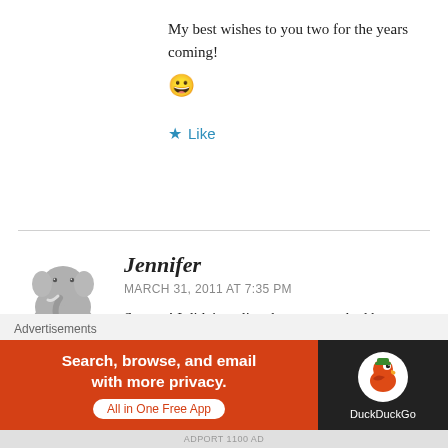My best wishes to you two for the years coming! 😀
★ Like
[Figure (other): Elephant avatar icon for Jennifer]
Jennifer
MARCH 31, 2011 AT 7:35 PM
So cute! I didn't realize that you two had been seeing each other for quite that long. But I am so
Advertisements
[Figure (screenshot): DuckDuckGo advertisement banner: Search, browse, and email with more privacy. All in One Free App. DuckDuckGo logo on dark background.]